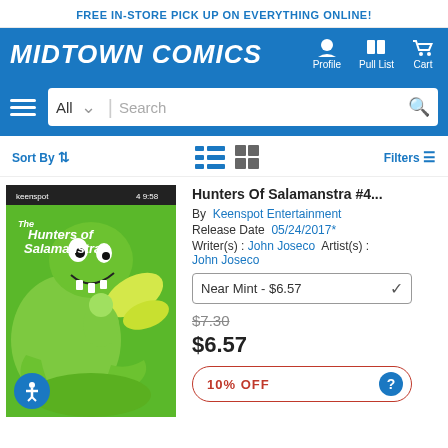FREE IN-STORE PICK UP ON EVERYTHING ONLINE!
MIDTOWN COMICS
Profile  Pull List  Cart
All  Search
Sort By  Filters
[Figure (illustration): Comic book cover for The Hunters of Salamanstra, showing a green monster and a character with yellow wings on a green background]
Hunters Of Salamanstra #4...
By Keenspot Entertainment
Release Date 05/24/2017*
Writer(s) : John Joseco  Artist(s) : John Joseco
Near Mint - $6.57
$7.30
$6.57
10% OFF